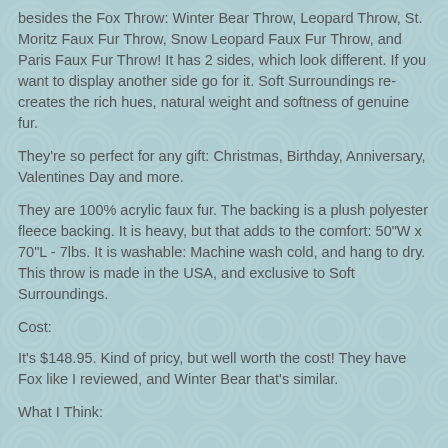besides the Fox Throw: Winter Bear Throw, Leopard Throw, St. Moritz Faux Fur Throw, Snow Leopard Faux Fur Throw, and Paris Faux Fur Throw! It has 2 sides, which look different. If you want to display another side go for it. Soft Surroundings re-creates the rich hues, natural weight and softness of genuine fur.
They're so perfect for any gift: Christmas, Birthday, Anniversary, Valentines Day and more.
They are 100% acrylic faux fur. The backing is a plush polyester fleece backing. It is heavy, but that adds to the comfort: 50"W x 70"L - 7lbs. It is washable: Machine wash cold, and hang to dry. This throw is made in the USA, and exclusive to Soft Surroundings.
Cost:
It's $148.95. Kind of pricy, but well worth the cost! They have Fox like I reviewed, and Winter Bear that's similar.
What I Think: